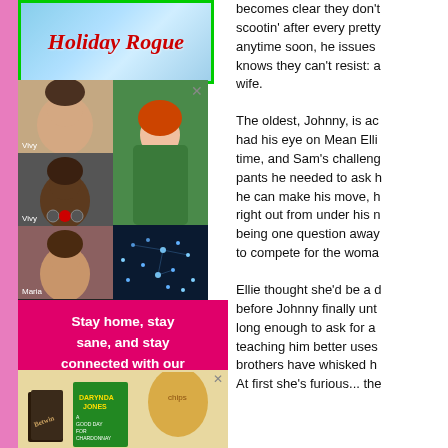[Figure (illustration): Book cover for 'Holiday Rogue' with light blue sparkly background and red script title text, green border]
[Figure (screenshot): Video conferencing call grid showing 5 participants: woman with dark hair top-left, man (Black) middle-left, woman with red hair in green top top-right, woman bottom-left, digital world map bottom-right. Close X button top-right.]
[Figure (infographic): Pink/magenta advertisement banner reading 'Stay home, stay sane, and stay connected with our video book club!' with a blue Zoom button and Fresh Fiction branding]
[Figure (photo): Bottom portion showing books including Darynda Jones 'A Good Day for Chardonnay' with a close X button]
becomes clear they don't scootin' after every pretty anytime soon, he issues knows they can't resist: a wife.
The oldest, Johnny, is ac had his eye on Mean Elli time, and Sam's challeng pants he needed to ask h he can make his move, h right out from under his n being one question away to compete for the woma
Ellie thought she'd be a d before Johnny finally unt long enough to ask for a teaching him better uses brothers have whisked h At first she's furious... the